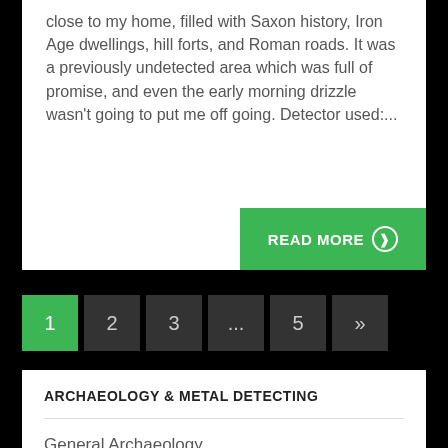close to my home, filled with Saxon history, Iron Age dwellings, hill forts, and Roman roads. It was a previously undetected area which was full of promise, and even the early morning drizzle wasn't going to put me off going. Detector used:...
READ MORE ⊙
1
2
3
...
5
»
ARCHAEOLOGY & METAL DETECTING
General Archaeology